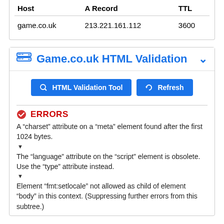| Host | A Record | TTL |
| --- | --- | --- |
| game.co.uk | 213.221.161.112 | 3600 |
Game.co.uk HTML Validation
HTML Validation Tool
Refresh
ERRORS
A “charset” attribute on a “meta” element found after the first 1024 bytes.
The “language” attribute on the “script” element is obsolete. Use the “type” attribute instead.
Element “fmt:setlocale” not allowed as child of element “body” in this context. (Suppressing further errors from this subtree.)